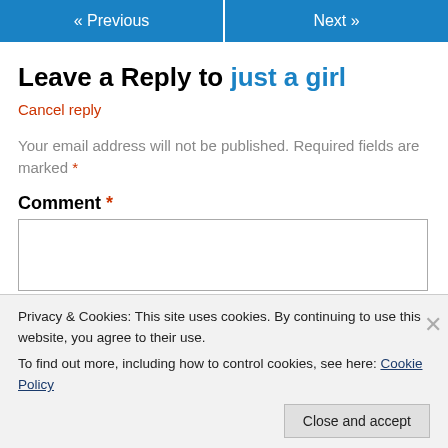« Previous   Next »
Leave a Reply to just a girl
Cancel reply
Your email address will not be published. Required fields are marked *
Comment *
Privacy & Cookies: This site uses cookies. By continuing to use this website, you agree to their use.
To find out more, including how to control cookies, see here: Cookie Policy
Close and accept